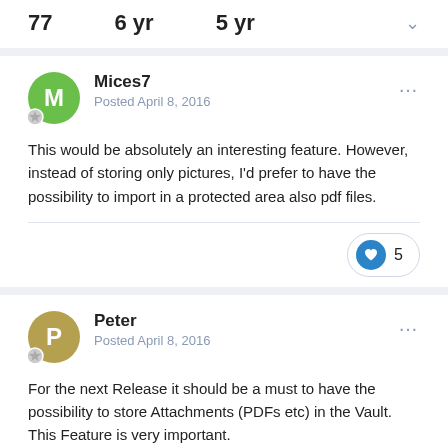77   6 yr   5 yr
Mices7
Posted April 8, 2016
This would be absolutely an interesting feature. However, instead of storing only pictures, I'd prefer to have the possibility to import in a protected area also pdf files.
5
Peter
Posted April 8, 2016
For the next Release it should be a must to have the possibility to store Attachments (PDFs etc) in the Vault. This Feature is very important.